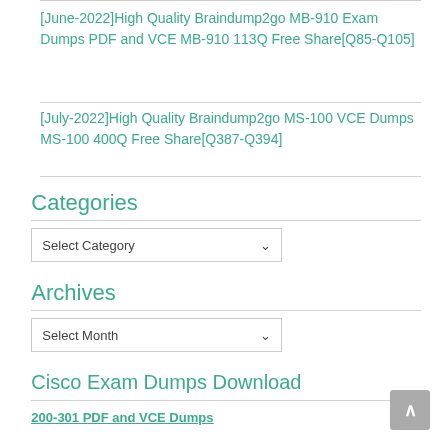[June-2022]High Quality Braindump2go MB-910 Exam Dumps PDF and VCE MB-910 113Q Free Share[Q85-Q105]
[July-2022]High Quality Braindump2go MS-100 VCE Dumps MS-100 400Q Free Share[Q387-Q394]
Categories
Select Category
Archives
Select Month
Cisco Exam Dumps Download
200-301 PDF and VCE Dumps